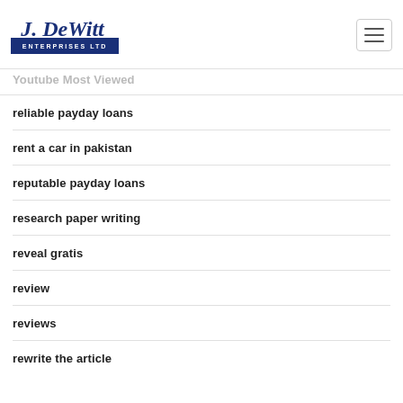J. DeWitt Enterprises Ltd
Youtube Most Viewed
reliable payday loans
rent a car in pakistan
reputable payday loans
research paper writing
reveal gratis
review
reviews
rewrite the article